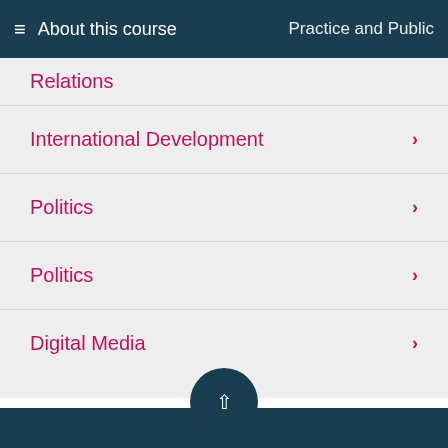About this course  Practice and Public Relations
Relations
International Development
Politics
Politics
Digital Media